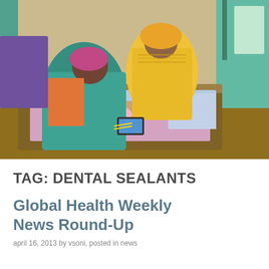[Figure (photo): A woman in a yellow sari and another woman in a teal top are gathered around a newborn baby lying on a bed. One person appears to be using a mobile device. The scene appears to be in a healthcare or home setting in South Asia.]
TAG: DENTAL SEALANTS
Global Health Weekly News Round-Up
april 16, 2013 by vsoni, posted in news